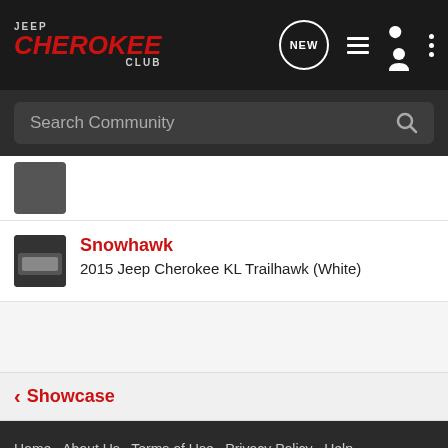Jeep Cherokee Club
Search Community
[Figure (screenshot): Partial avatar/profile image thumbnail at top of list]
Snowhawk
2015 Jeep Cherokee KL Trailhawk (White)
< Showcase
Home  About Us  Terms of Use  Privacy Policy  Help  Business Directory  Contact Us  |  Grow Your Business  NEW  [RSS]  VerticalScope Inc., 111 Peter Street, Suite 600, Toronto, Ontario, M5V 2H1, Canada  The Forum platform includes software by XenForo